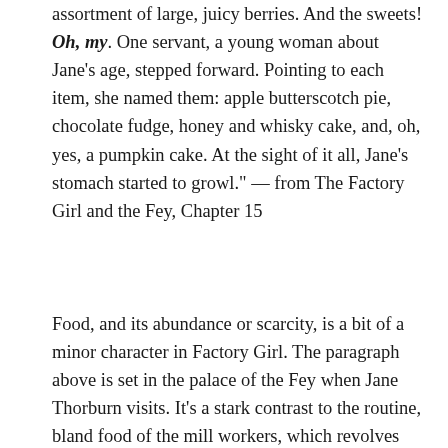assortment of large, juicy berries. And the sweets! Oh, my. One servant, a young woman about Jane's age, stepped forward. Pointing to each item, she named them: apple butterscotch pie, chocolate fudge, honey and whisky cake, and, oh, yes, a pumpkin cake. At the sight of it all, Jane's stomach started to growl." — from The Factory Girl and the Fey, Chapter 15
Food, and its abundance or scarcity, is a bit of a minor character in Factory Girl. The paragraph above is set in the palace of the Fey when Jane Thorburn visits. It's a stark contrast to the routine, bland food of the mill workers, which revolves around porridge and bread to fill the stomach but not the soul. She grows up with an